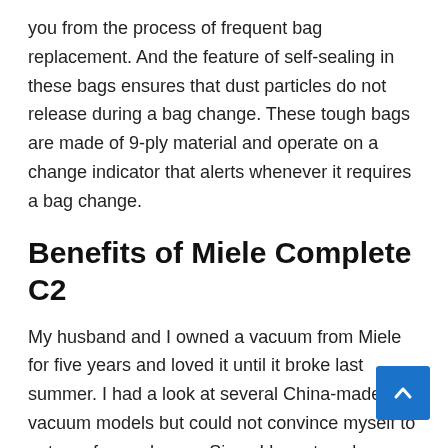you from the process of frequent bag replacement. And the feature of self-sealing in these bags ensures that dust particles do not release during a bag change. These tough bags are made of 9-ply material and operate on a change indicator that alerts whenever it requires a bag change.
Benefits of Miele Complete C2
My husband and I owned a vacuum from Miele for five years and loved it until it broke last summer. I had a look at several China-made vacuum models but could not convince myself to get one for our house. Since I have two dogs and am a complete germaphobe, I decided to give this one a whirl.
First of all, the previous vacuum we paid for costing